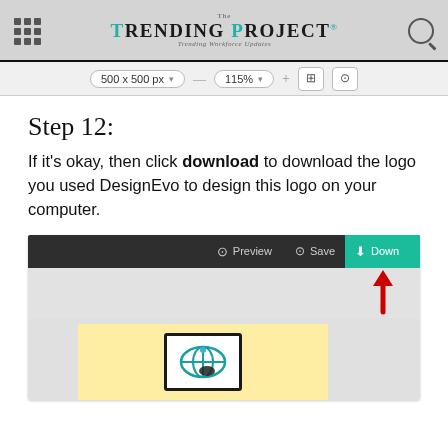The Trending Project — Trending Workforce Updates
[Figure (screenshot): DesignEvo editor toolbar showing 500 x 500 px size, 115% zoom, grid and user icons]
Step 12:
If it's okay, then click download to download the logo you used DesignEvo to design this logo on your computer.
[Figure (screenshot): DesignEvo editor screenshot showing Preview, Save, and Download buttons in top bar with a red arrow pointing to the Download button, and a logo design on a yellow canvas background]